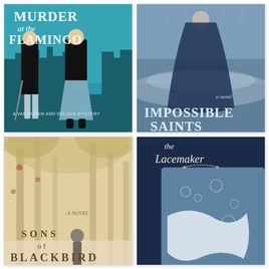[Figure (illustration): Book cover: 'Murder at the Flamingo – A Van Buren and DeLuca Mystery' by Rachel McMillan. Teal/turquoise background with city skyline silhouette. Two stylized 1930s figures (man with cane, woman in black) in the foreground. Large bold Art Deco title text.]
[Figure (illustration): Book cover: 'Impossible Saints – a novel' by Clarissa Harwood. Moody blue-toned atmospheric cover with a woman in a long dark dress standing in rain or mist. Large serif title text in pale blue.]
[Figure (illustration): Book cover: 'Sons of Blackbird – a novel'. Soft golden/sepia toned cover with a misty forest and small figure of a boy seen from behind. Large spaced serif title text.]
[Figure (illustration): Book cover: 'The Lacemaker'. Dark blue background featuring close-up of intricate pale blue lace fabric. Script title text 'the Lacemaker' in white/cream at the top.]